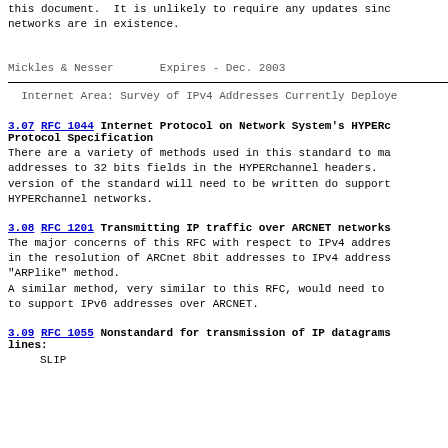this document.  It is unlikely to require any updates since networks are in existence.
Mickles & Nesser        Expires - Dec. 2003
Internet Area: Survey of IPv4 Addresses Currently Deploye
3.07 RFC 1044 Internet Protocol on Network System's HYPERc Protocol Specification
There are a variety of methods used in this standard to ma addresses to 32 bits fields in the HYPERchannel headers. version of the standard will need to be written do support HYPERchannel networks.
3.08 RFC 1201 Transmitting IP traffic over ARCNET networks
The major concerns of this RFC with respect to IPv4 addres in the resolution of ARCnet 8bit addresses to IPv4 address "ARPlike" method.
A similar method, very similar to this RFC, would need to to support IPv6 addresses over ARCNET.
3.09 RFC 1055 Nonstandard for transmission of IP datagrams lines:
SLIP